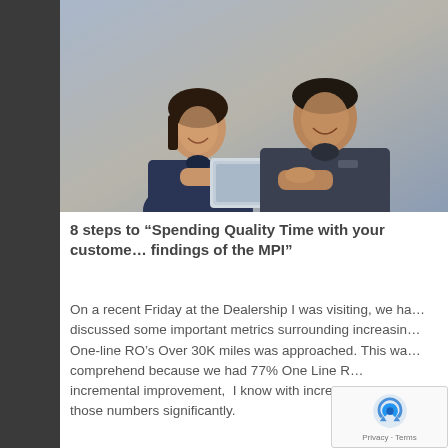[Figure (photo): Two service technicians in navy/dark uniforms smiling and looking at a tablet device together]
8 steps to “Spending Quality Time with your customer to review the findings of the MPI”
On a recent Friday at the Dealership I was visiting, we had discussed some important metrics surrounding increasing One-line RO’s Over 30K miles was approached. This was hard to comprehend because we had 77% One Line RO’s. For incremental improvement, I know with increasing we can improve those numbers significantly.